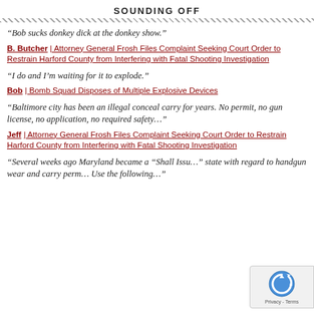SOUNDING OFF
“Bob sucks donkey dick at the donkey show.”
B. Butcher | Attorney General Frosh Files Complaint Seeking Court Order to Restrain Harford County from Interfering with Fatal Shooting Investigation
“I do and I’m waiting for it to explode.”
Bob | Bomb Squad Disposes of Multiple Explosive Devices
“Baltimore city has been an illegal conceal carry for years. No permit, no gun license, no application, no required safety…”
Jeff | Attorney General Frosh Files Complaint Seeking Court Order to Restrain Harford County from Interfering with Fatal Shooting Investigation
“Several weeks ago Maryland became a “Shall Issue” state with regard to handgun wear and carry perm… Use the following…”